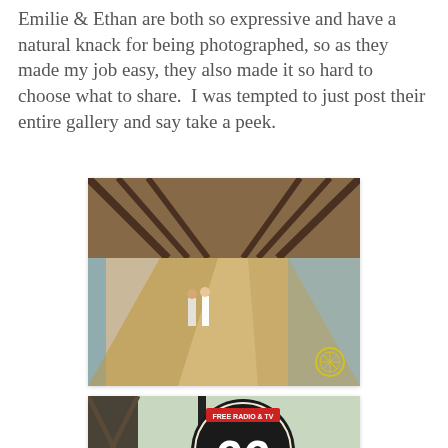Emilie & Ethan are both so expressive and have a natural knack for being photographed, so as they made my job easy, they also made it so hard to choose what to share.  I was tempted to just post their entire gallery and say take a peek.
[Figure (photo): A couple walking on a pedestrian bridge with dramatic steel truss structure and long shadows cast on the walkway. A small circular watermark/logo is visible in the lower right corner.]
[Figure (photo): A vintage Route 66 Auto Court sign with 'NO VACANCY' and 'EAT' signs, shot from below against a light sky. Steel truss structure visible on left side.]